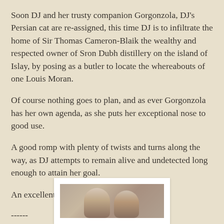Soon DJ and her trusty companion Gorgonzola, DJ's Persian cat are re-assigned, this time DJ is to infiltrate the home of Sir Thomas Cameron-Blaik the wealthy and respected owner of Sron Dubh distillery on the island of Islay, by posing as a butler to locate the whereabouts of one Louis Moran.
Of course nothing goes to plan, and as ever Gorgonzola has her own agenda, as she puts her exceptional nose to good use.
A good romp with plenty of twists and turns along the way, as DJ attempts to remain alive and undetected long enough to attain her goal.
An excellent entry in this popular series.
------
Lizzie Hayes
[Figure (photo): A photograph showing two people (partially visible, cropped at bottom of page), appearing to be a man and a woman, with a white border/frame around the photo.]